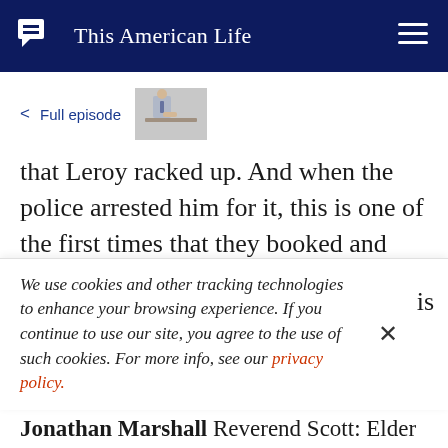This American Life
< Full episode
that Leroy racked up. And when the police arrested him for it, this is one of the first times that they booked and processed this guy who everybody called Leroy as Lanail Hudson. This is the moment where it seems like he's making the
We use cookies and other tracking technologies to enhance your browsing experience. If you continue to use our site, you agree to the use of such cookies. For more info, see our privacy policy.
Jonathan Marshall Reverend Scott: Elder